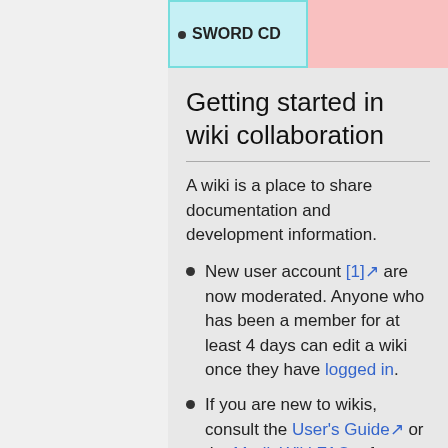SWORD CD
Getting started in wiki collaboration
A wiki is a place to share documentation and development information.
New user account [1] are now moderated. Anyone who has been a member for at least 4 days can edit a wiki once they have logged in.
If you are new to wikis, consult the User's Guide or the MediaWiki FAQ for information on using the wiki software .
Look to see what might need attention by visiting Wiki Maintenance...